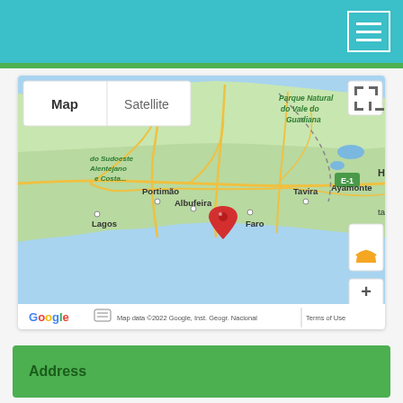[Figure (screenshot): Teal top navigation bar with white hamburger menu icon in top right corner]
[Figure (map): Google Maps screenshot showing southern Portugal (Algarve region) with cities Lagos, Portimão, Albufeira, Faro, Tavira, Ayamonte, and Parque Natural do Vale do Guadiana labeled. A red map pin marker is placed near Albufeira/Faro area. Map controls include Map/Satellite toggle, fullscreen button, Street View pegman, and zoom +/- buttons. Footer shows Google logo and 'Map data ©2022 Google, Inst. Geogr. Nacional | Terms of Use'.]
Address